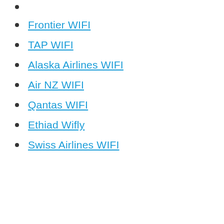(partial link at top)
Frontier WIFI
TAP WIFI
Alaska Airlines WIFI
Air NZ WIFI
Qantas WIFI
Ethiad Wifly
Swiss Airlines WIFI